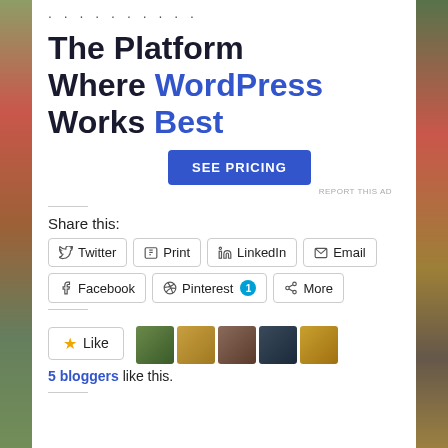[Figure (other): Decorative left and right image strips showing food/nature photos on the sides of the page]
..........
The Platform Where WordPress Works Best
SEE PRICING
REPORT THIS AD
Share this:
Twitter
Print
LinkedIn
Email
Facebook
Pinterest 1
More
5 bloggers like this.